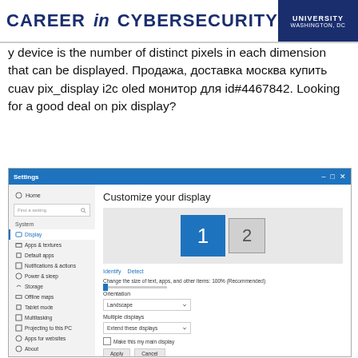[Figure (screenshot): Banner for 'Career in Cybersecurity' with university logo (Washington, DC)]
y device is the number of distinct pixels in each dimension that can be displayed. Продажа, доставка москва купить cuav pix_display i2c oled монитор для id#4467842. Looking for a good deal on pix display?
[Figure (screenshot): Windows 10 Display Settings screen showing 'Customize your display' with two monitor boxes labeled 1 and 2, sidebar with navigation items (Home, Display, Apps & textures, Default apps, Notifications & actions, Power & sleep, Storage, Offline maps, Tablet mode, Multitasking, Projecting to this PC, Apps for websites, About), and content area with identify/detect links, text size slider, orientation dropdown (Landscape), multiple displays dropdown (Extend these displays), Make this my main display checkbox, Apply/Cancel buttons, and Advanced display settings link.]